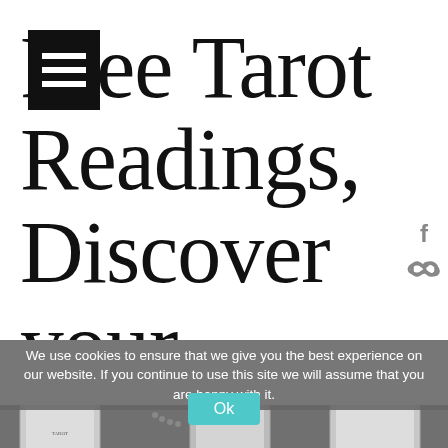[Figure (logo): Black square hamburger menu icon with three white horizontal bars]
Free Tarot Readings, Discover your destiny
[Figure (infographic): Facebook 'f' social icon in gray and a chain/link icon in gray, displayed vertically on the right side]
We use cookies to ensure that we give you the best experience on our website. If you continue to use this site we will assume that you are happy with it.
[Figure (photo): Grayscale photo of tarot cards and beaded jewelry/rosary, showing multiple tarot card images including what appear to be historical tarot card illustrations]